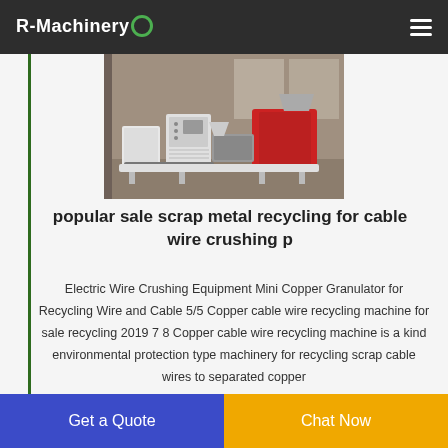R-Machinery
[Figure (photo): Industrial copper wire cable granulator/recycling machine equipment in a factory warehouse setting, showing white control panels, red drum crusher, and conveyor components.]
popular sale scrap metal recycling for cable wire crushing p
Electric Wire Crushing Equipment Mini Copper Granulator for Recycling Wire and Cable 5/5 Copper cable wire recycling machine for sale recycling 2019 7 8 Copper cable wire recycling machine is a kind environmental protection type machinery for recycling scrap cable wires to separated copper